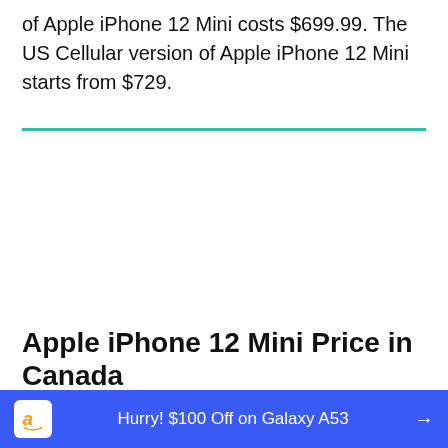of Apple iPhone 12 Mini costs $699.99. The US Cellular version of Apple iPhone 12 Mini starts from $729.
Apple iPhone 12 Mini Price in Canada
[Figure (other): Amazon advertisement banner with blue background, Amazon logo, text 'Hurry! $100 Off on Galaxy A53', and right arrow]